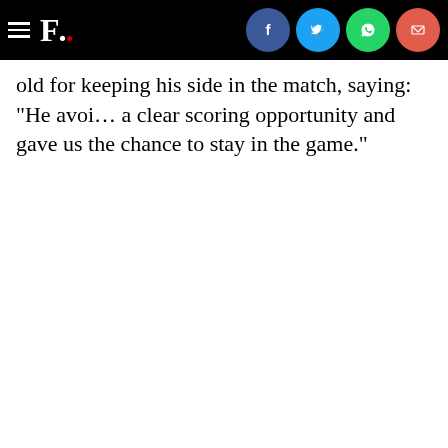F. [News site header with social share icons: Facebook, Twitter, WhatsApp, Email]
old for keeping his side in the match, saying: "He avoi... a clear scoring opportunity and gave us the chance to stay in the game."